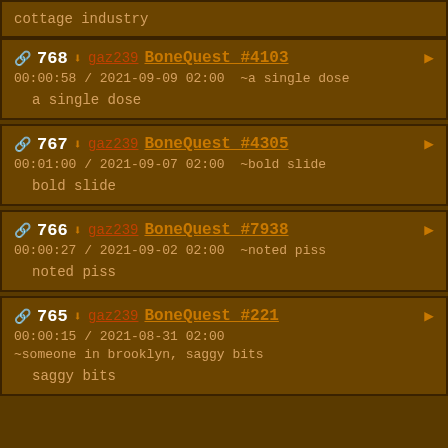cottage industry
768 BoneQuest #4103 00:00:58 / 2021-09-09 02:00 ~a single dose
a single dose
767 BoneQuest #4305 00:01:00 / 2021-09-07 02:00 ~bold slide
bold slide
766 BoneQuest #7938 00:00:27 / 2021-09-02 02:00 ~noted piss
noted piss
765 BoneQuest #221 00:00:15 / 2021-08-31 02:00 ~someone in brooklyn, saggy bits
saggy bits